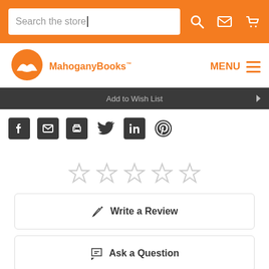Search the store
[Figure (logo): MahoganyBooks logo with orange circular icon and text 'MahoganyBooks']
Add to Wish List
[Figure (infographic): Social share icons: Facebook, Email, Print, Twitter, LinkedIn, Pinterest]
[Figure (infographic): Five empty star rating icons]
Write a Review
Ask a Question
Reviews 0   Questions 0